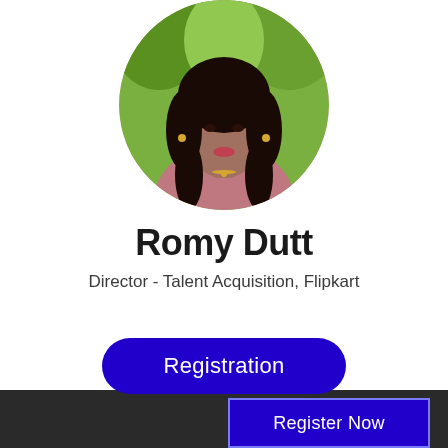[Figure (photo): Circular profile photo of Romy Dutt, a woman with dark hair wearing a pink/mauve top, photographed against a green leafy background.]
Romy Dutt
Director - Talent Acquisition, Flipkart
Registration
Register Now